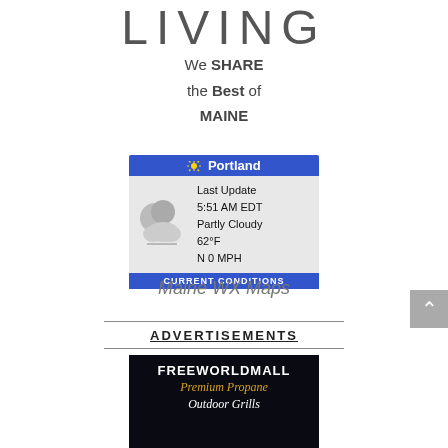LIVING
We SHARE the Best of MAINE
[Figure (screenshot): Portland weather widget showing: Last Update 5:51 AM EDT, Partly Cloudy, 62°F, N 0 MPH, Current Conditions]
Maine WX Maps
ADVERTISEMENTS
[Figure (photo): FREEWORLDMALL Premium Propane advertisement with dark background]